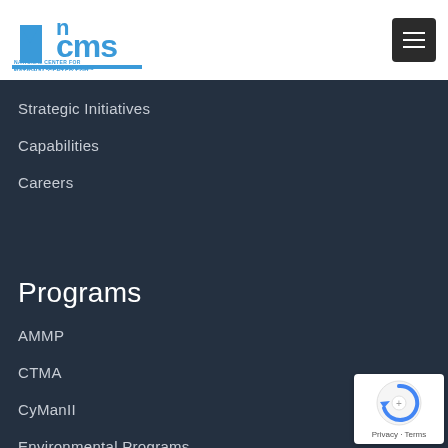NCMS - National Center for Manufacturing Sciences
Strategic Initiatives
Capabilities
Careers
Programs
AMMP
CTMA
CyManII
Environmental Programs
[Figure (logo): reCAPTCHA badge with Privacy and Terms links]